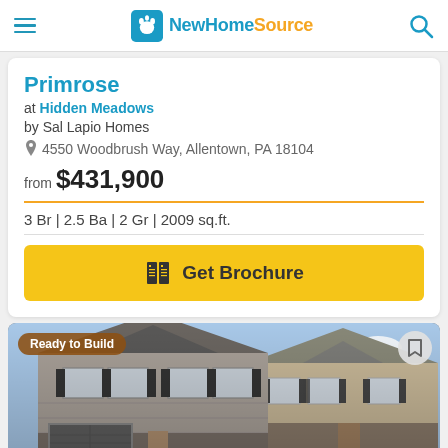NewHomeSource
Primrose
at Hidden Meadows
by Sal Lapio Homes
4550 Woodbrush Way, Allentown, PA 18104
from $431,900
3 Br | 2.5 Ba | 2 Gr | 2009 sq.ft.
Get Brochure
[Figure (photo): Exterior photo of a two-story colonial style new construction home with brown and beige siding, dark shutters, and stone facade, with blue sky in background. Badge reads 'Ready to Build'.]